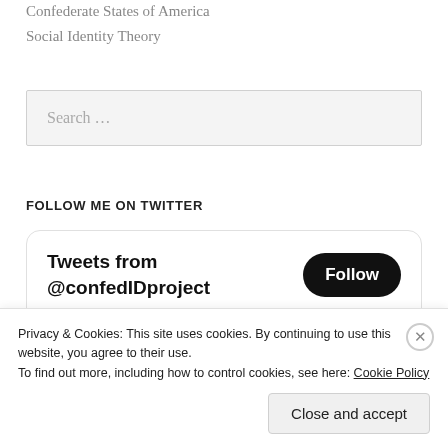Confederate States of America
Social Identity Theory
[Figure (screenshot): Search input box with placeholder text 'Search ...']
FOLLOW ME ON TWITTER
[Figure (screenshot): Twitter widget card with 'Tweets from @confedIDproject' and a Follow button]
Privacy & Cookies: This site uses cookies. By continuing to use this website, you agree to their use.
To find out more, including how to control cookies, see here: Cookie Policy
Close and accept